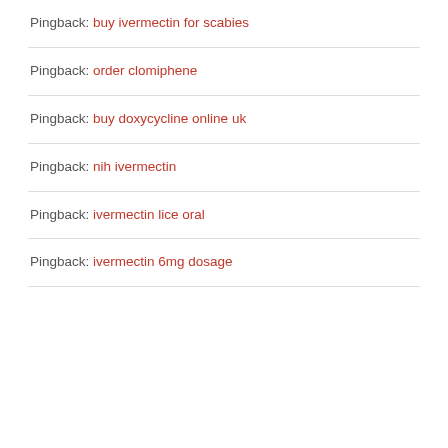Pingback: buy ivermectin for scabies
Pingback: order clomiphene
Pingback: buy doxycycline online uk
Pingback: nih ivermectin
Pingback: ivermectin lice oral
Pingback: ivermectin 6mg dosage